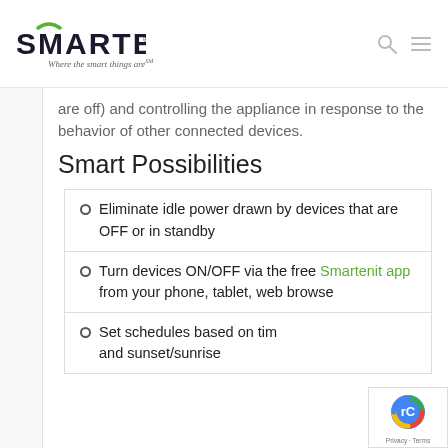[Figure (logo): Smartenit logo with arc above text and tagline 'Where the smart things are']
are off) and controlling the appliance in response to the behavior of other connected devices.
Smart Possibilities
Eliminate idle power drawn by devices that are OFF or in standby
Turn devices ON/OFF via the free Smartenit app from your phone, tablet, web browser
Set schedules based on time and sunset/sunrise